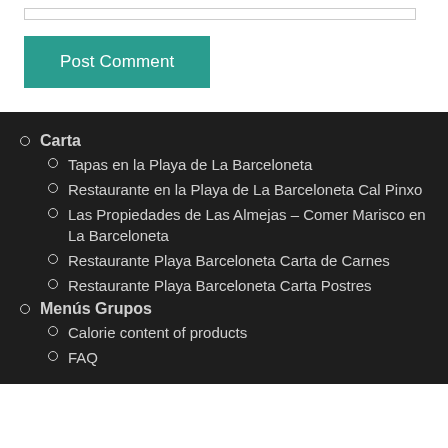Post Comment
Carta
Tapas en la Playa de La Barceloneta
Restaurante en la Playa de La Barceloneta Cal Pinxo
Las Propiedades de Las Almejas – Comer Marisco en La Barceloneta
Restaurante Playa Barceloneta Carta de Carnes
Restaurante Playa Barceloneta Carta Postres
Menús Grupos
Calorie content of products
FAQ